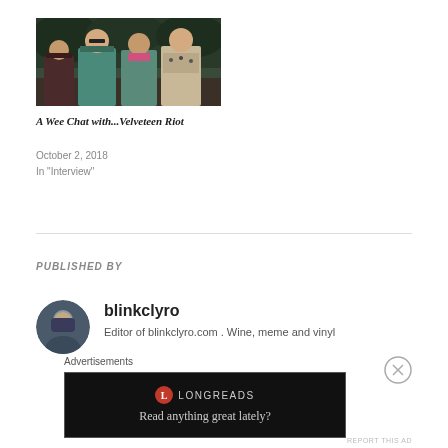[Figure (photo): Group photo of four young people standing outdoors in front of trees — Velveteen Riot band photo]
A Wee Chat with...Velveteen Riot
October 2, 2018
In "Interview"
PUBLISHED BY
[Figure (photo): Circular avatar photo of blinkclyro author]
blinkclyro
Editor of blinkclyro.com . Wine, meme and vinyl
Advertisements
[Figure (logo): Longreads advertisement banner — Read anything great lately?]